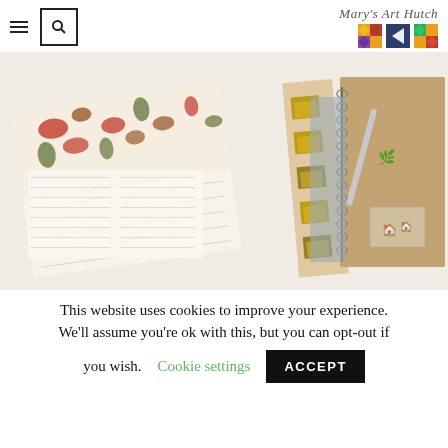Mary's Art Hutch
[Figure (photo): Overhead photo of planners, notebooks and stationery items including a floral-patterned planner, a kraft-colored spiral notebook with a gold pen, and decorative gold clips on a white surface.]
This website uses cookies to improve your experience. We'll assume you're ok with this, but you can opt-out if you wish. Cookie settings ACCEPT